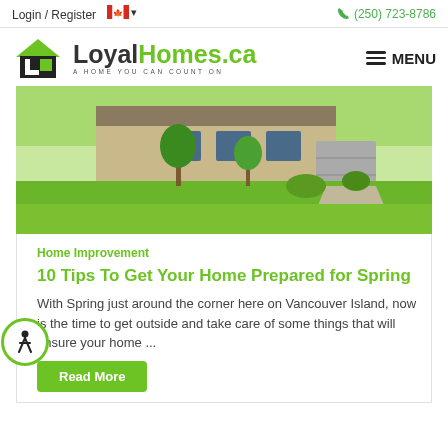Login / Register   🍁 ▾   📞 (250) 723-8786
[Figure (logo): LoyalHomes.ca logo with house icon and tagline A HOME YOU CAN COUNT ON, plus MENU hamburger button]
[Figure (photo): Exterior photo of a suburban home with manicured green lawn, driveway, stone facade, and garage]
Home Improvement
10 Tips To Get Your Home Prepared for Spring
With Spring just around the corner here on Vancouver Island, now is the time to get outside and take care of some things that will ensure your home ...
Read More